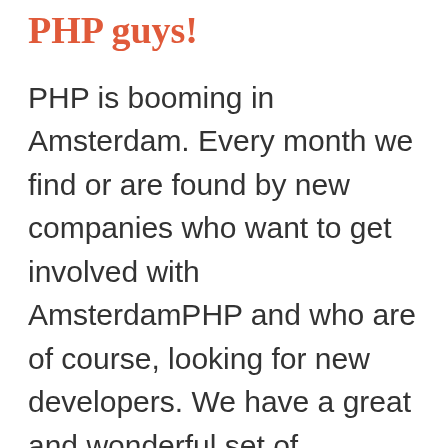PHP guys!
PHP is booming in Amsterdam. Every month we find or are found by new companies who want to get involved with AmsterdamPHP and who are of course, looking for new developers. We have a great and wonderful set of passionate guys, and more and more have stepped up to help and get involved with AmsterdamPHP